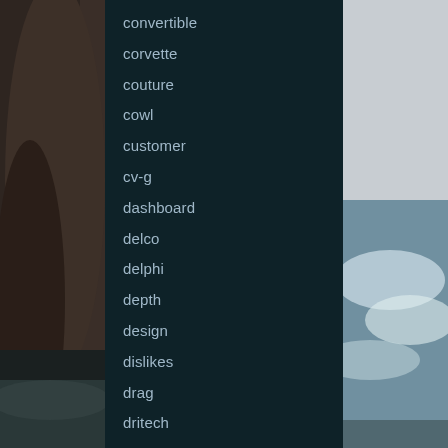[Figure (photo): Coastal scene with rocky cliffs on the left and ocean waves on the right, dark teal panel overlaid in the center]
convertible
corvette
couture
cowl
customer
cv-g
dashboard
delco
delphi
depth
design
dislikes
drag
dritech
duraflex
edition
engine
enkei